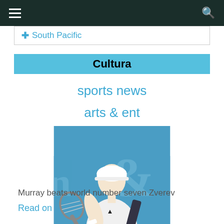Navigation header with hamburger menu and search icon
South Pacific
Cultura
sports news
arts & ent
[Figure (photo): Tennis player in white outfit swinging a racket on a blue outdoor court]
Murray beats world number seven Zverev
Read on